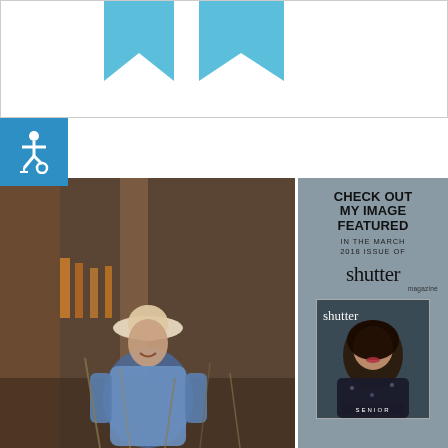[Figure (illustration): Top white banner with two light blue downward-pointing ribbon/award shapes centered on white background with border]
[Figure (photo): Small blue square with white wheelchair accessibility icon]
[Figure (photo): Portrait photo of a young woman wearing a white hat and denim shirt standing in front of a rustic wooden barn with warm golden light]
[Figure (infographic): Gray panel with text reading CHECK OUT MY IMAGE FEATURED IN THE MARCH 2018 ISSUE OF shutter magazine, and a thumbnail of the Shutter Magazine March 2018 Senior issue cover showing a woman with dark hair]